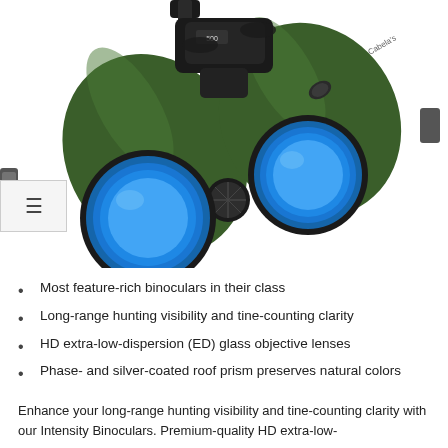[Figure (photo): Green and black binoculars with blue-coated objective lenses, viewed from the front-bottom angle. The binoculars have a textured rubber grip and a focus knob in the center.]
Most feature-rich binoculars in their class
Long-range hunting visibility and tine-counting clarity
HD extra-low-dispersion (ED) glass objective lenses
Phase- and silver-coated roof prism preserves natural colors
Enhance your long-range hunting visibility and tine-counting clarity with our Intensity Binoculars. Premium-quality HD extra-low-